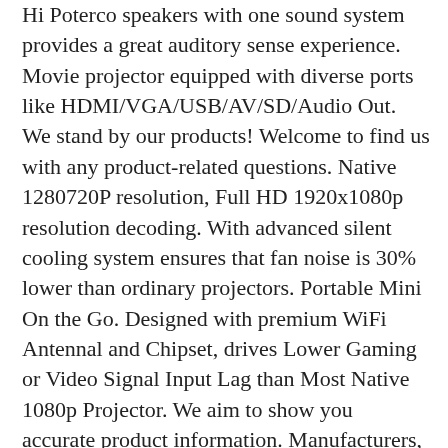Hi Poterco speakers with one sound system provides a great auditory sense experience. Movie projector equipped with diverse ports like HDMI/VGA/USB/AV/SD/Audio Out. We stand by our products! Welcome to find us with any product-related questions. Native 1280720P resolution, Full HD 1920x1080p resolution decoding. With advanced silent cooling system ensures that fan noise is 30% lower than ordinary projectors. Portable Mini On the Go. Designed with premium WiFi Antennal and Chipset, drives Lower Gaming or Video Signal Input Lag than Most Native 1080p Projector. We aim to show you accurate product information. Manufacturers, suppliers and others provide what you see here, and we have not verified it. The Easiest WiFi Connection On the Market. Go to Settings, connect to projector WiFi named “Mirroring-EBCE88”, enter the password: 12345678. Turn on the Screen Mirroring settings in the